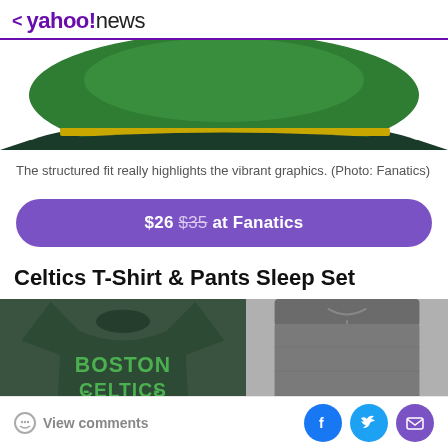< yahoo!news
[Figure (photo): Top portion of a Boston Celtics cap showing green fabric and dark brim against white background]
The structured fit really highlights the vibrant graphics. (Photo: Fanatics)
$26 $35 at Fanatics
Celtics T-Shirt & Pants Sleep Set
[Figure (photo): Boston Celtics dark green t-shirt with Boston Celtics logo on the left, and dark gray drawstring sleep pants on the right]
View comments | Facebook | Twitter | Email